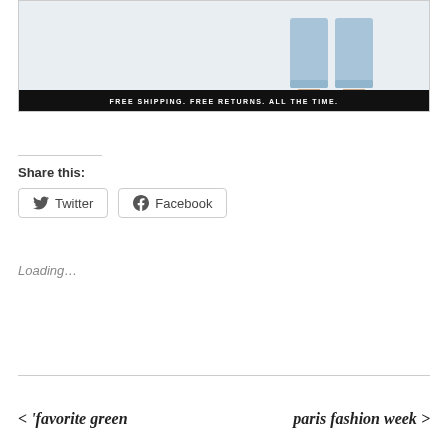[Figure (photo): Advertisement image showing the lower half of a person wearing light blue jeans and flat sandals, with a black banner below reading FREE SHIPPING. FREE RETURNS. ALL THE TIME.]
Share this:
Twitter
Facebook
Loading...
< 'favorite green       paris fashion week >